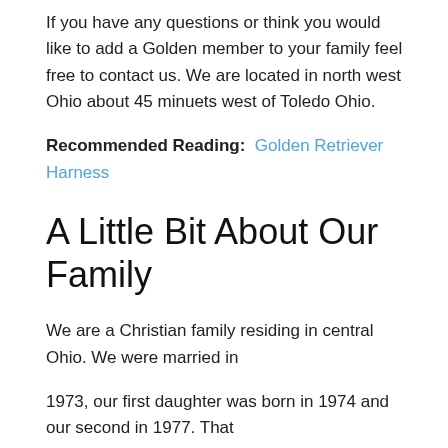If you have any questions or think you would like to add a Golden member to your family feel free to contact us. We are located in north west Ohio about 45 minuets west of Toledo Ohio.
Recommended Reading: Golden Retriever Harness
A Little Bit About Our Family
We are a Christian family residing in central Ohio. We were married in
1973, our first daughter was born in 1974 and our second in 1977. That
same year we began our search for a family dog. In the age before the